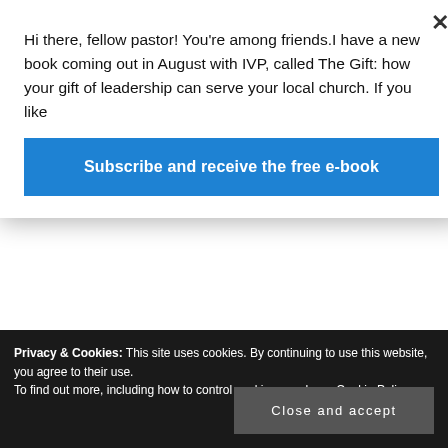Hi there, fellow pastor! You're among friends.I have a new book coming out in August with IVP, called The Gift: how your gift of leadership can serve your local church. If you like
Subscribe and receive the free e-book
…to go…
About me
'Hope is not a strategy', said someone
Assembled for a purpose
How-to for pastors - The Full Focus Planner, from Michael Hyatt and Company
Privacy & Cookies: This site uses cookies. By continuing to use this website, you agree to their use.
To find out more, including how to control cookies, see here: Cookie Policy
Close and accept